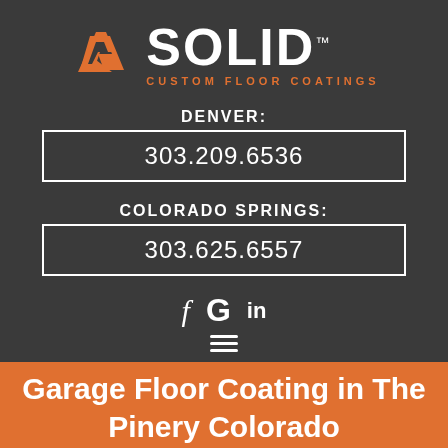[Figure (logo): Solid Custom Floor Coatings logo with orange angular icon and white SOLID text with TM mark, and orange CUSTOM FLOOR COATINGS subtitle]
DENVER:
303.209.6536
COLORADO SPRINGS:
303.625.6557
[Figure (infographic): Social media icons: Facebook f, Google G, LinkedIn in, and hamburger menu icon]
Garage Floor Coating in The Pinery Colorado